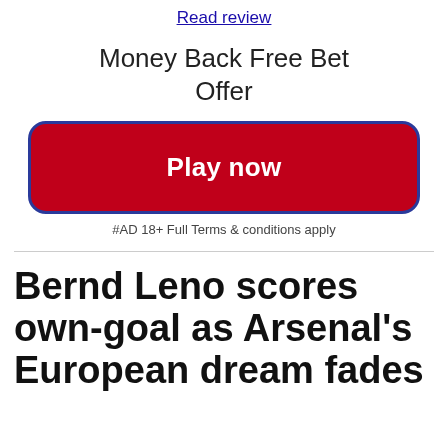Read review
Money Back Free Bet Offer
Play now
#AD 18+ Full Terms & conditions apply
Bernd Leno scores own-goal as Arsenal's European dream fades